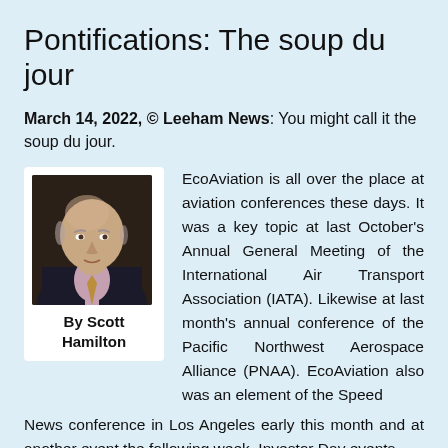Pontifications: The soup du jour
March 14, 2022, © Leeham News: You might call it the soup du jour.
[Figure (photo): Headshot photo of Scott Hamilton, an older bald man in a dark jacket]
By Scott Hamilton
EcoAviation is all over the place at aviation conferences these days. It was a key topic at last October's Annual General Meeting of the International Air Transport Association (IATA). Likewise at last month's annual conference of the Pacific Northwest Aerospace Alliance (PNAA). EcoAviation also was an element of the Speed News conference in Los Angeles early this month and at another event the following week. Investor Day events